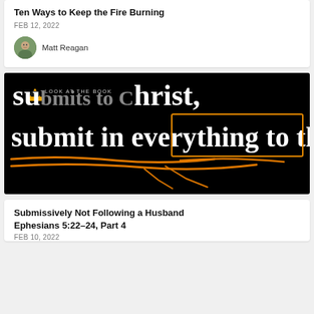Ten Ways to Keep the Fire Burning
FEB 12, 2022
Matt Reagan
[Figure (screenshot): Black background image with white bold text reading 'submits to Christ, submit in everything to their' with orange rectangle highlight around 'in everything to' and orange underline/annotation marks below. A yellow book icon and 'LOOK AT THE BOOK' badge appear in upper left.]
Submissively Not Following a Husband Ephesians 5:22–24, Part 4
FEB 10, 2022